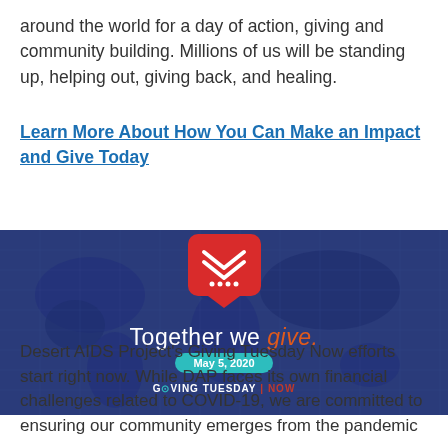around the world for a day of action, giving and community building. Millions of us will be standing up, helping out, giving back, and healing.
Learn More About How You Can Make an Impact and Give Today
[Figure (illustration): GivingTuesdayNow banner with world map background in dark blue, a red speech bubble icon with a white heart/arrow logo, text 'Together we give.' with 'give.' in teal/orange, 'May 5, 2020' in a teal pill, and 'GIVING TUESDAY | NOW' logo at bottom.]
Desert AIDS Project's Giving Tuesday Now efforts start right now. While DAP faces its own financial challenges related to COVID-19, we are committed to ensuring our community emerges from the pandemic